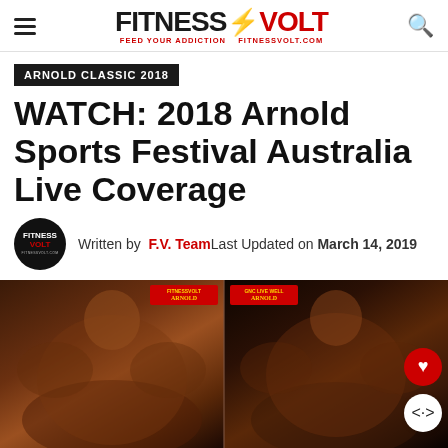FITNESS VOLT — FEED YOUR ADDICTION FITNESSVOLT.COM
ARNOLD CLASSIC 2018
WATCH: 2018 Arnold Sports Festival Australia Live Coverage
Written by F.V. Team Last Updated on March 14, 2019
[Figure (photo): Two side-by-side photos of muscular bodybuilders posing at the 2018 Arnold Sports Festival Australia, with Arnold Classic Australia branding visible in the background.]